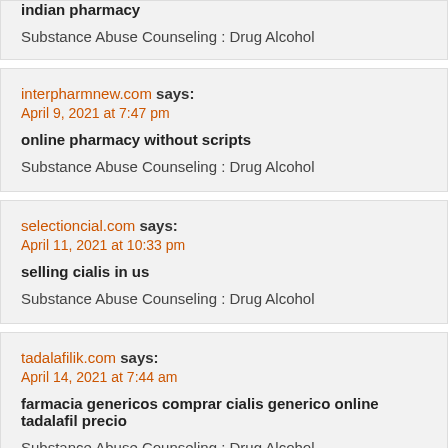indian pharmacy
Substance Abuse Counseling : Drug Alcohol
interpharmnew.com says:
April 9, 2021 at 7:47 pm
online pharmacy without scripts
Substance Abuse Counseling : Drug Alcohol
selectioncial.com says:
April 11, 2021 at 10:33 pm
selling cialis in us
Substance Abuse Counseling : Drug Alcohol
tadalafilik.com says:
April 14, 2021 at 7:44 am
farmacia genericos comprar cialis generico online tadalafil precio
Substance Abuse Counseling : Drug Alcohol